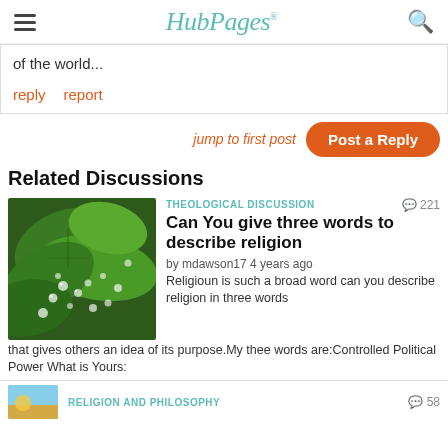HubPages
of the world...
reply   report
jump to first post   Post a Reply
Related Discussions
[Figure (photo): Close-up photo of green leaves with water droplets]
THEOLOGICAL DISCUSSION   221
Can You give three words to describe religion
by mdawson17 4 years ago
Religioun is such a broad word can you describe religion in three words that gives others an idea of its purpose.My thee words are:Controlled Political Power What is Yours:
RELIGION AND PHILOSOPHY   58